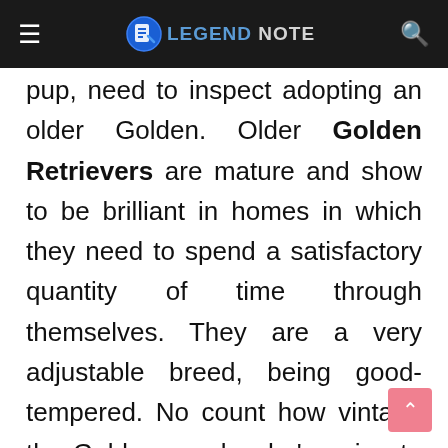LEGEND NOTE
pup, need to inspect adopting an older Golden. Older Golden Retrievers are mature and show to be brilliant in homes in which they need to spend a satisfactory quantity of time through themselves. They are a very adjustable breed, being good-tempered. No count how vintage the Golden can be, he's going to speedy end up a valued member of your family in little to no time in any respect.